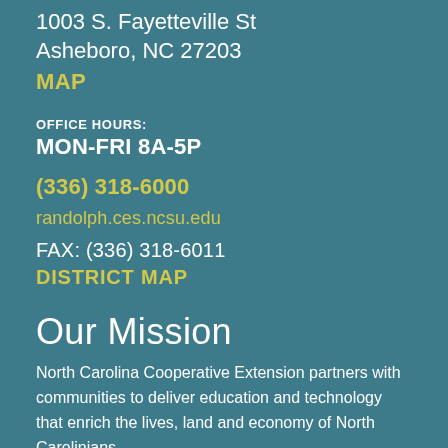1003 S. Fayetteville St
Asheboro, NC 27203
MAP
OFFICE HOURS:
MON-FRI 8A-5P
(336) 318-6000
randolph.ces.ncsu.edu
FAX: (336) 318-6011
DISTRICT MAP
Our Mission
North Carolina Cooperative Extension partners with communities to deliver education and technology that enrich the lives, land and economy of North Carolinians.